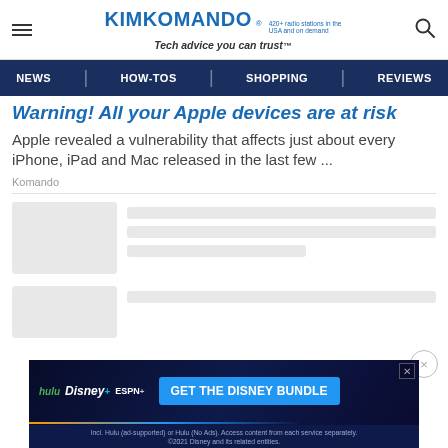KIMKOMANDO® 420+ radio stations in the USA and on demand Tech advice you can trust™
NEWS | HOW-TOS | SHOPPING | REVIEWS
Warning! All your Apple devices are at risk
Apple revealed a vulnerability that affects just about every iPhone, iPad and Mac released in the last few ...
Komando
[Figure (screenshot): Loading skeleton placeholders showing two content cards with grey image boxes and grey text line placeholders]
[Figure (screenshot): Disney Bundle advertisement banner: hulu Disney+ ESPN+ GET THE DISNEY BUNDLE. Incl. Hulu (ad-supported) or Hulu (No Ads). Access content from each service separately. ©2021 Disney and its related entities.]